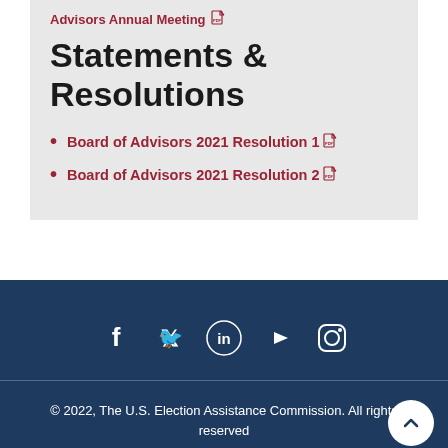Advisors Annual Meeting
Statements & Resolutions
Board of Advisors 2021 Resolution 1
Board of Advisors 2021 Resolution 2
[Figure (infographic): Social media icons: Facebook, Twitter, LinkedIn, YouTube, Instagram on dark navy background]
© 2022, The U.S. Election Assistance Commission. All rights reserved